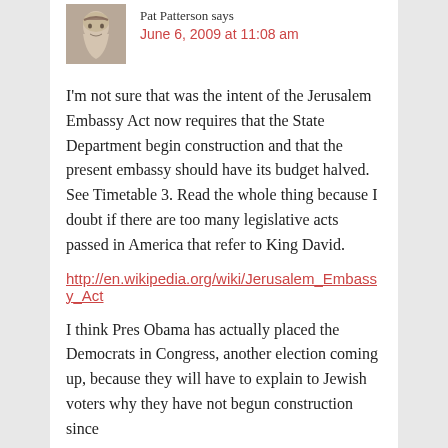Pat Patterson says
June 6, 2009 at 11:08 am
I'm not sure that was the intent of the Jerusalem Embassy Act now requires that the State Department begin construction and that the present embassy should have its budget halved. See Timetable 3. Read the whole thing because I doubt if there are too many legislative acts passed in America that refer to King David.
http://en.wikipedia.org/wiki/Jerusalem_Embassy_Act
I think Pres Obama has actually placed the Democrats in Congress, another election coming up, because they will have to explain to Jewish voters why they have not begun construction since